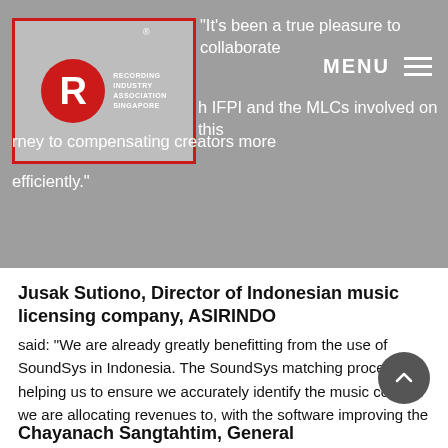[Figure (logo): Recording Industry Association Singapore (RIAS) logo — red circle with white R letter and text, inside a red-bordered box on gray background]
“It’s been a true pleasure to collaborate with IFPI and the MLCs involved on this journey to compensating creators more efficiently.”
Jusak Sutiono, Director of Indonesian music licensing company, ASIRINDO
said: “We are already greatly benefitting from the use of SoundSys in Indonesia. The SoundSys matching process is helping us to ensure we accurately identify the music content we are allocating revenues to, with the software improving the speed with which we can then process the revenue and distribute it to our right holder community.”
Chayanach Sangtahtim, General